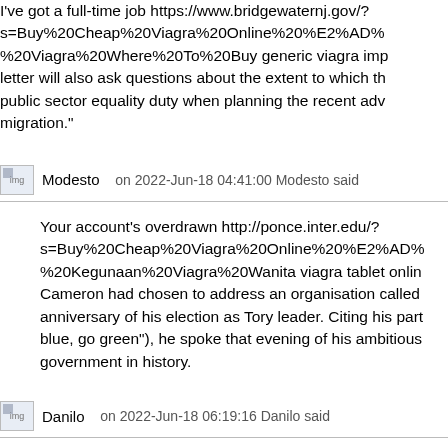I've got a full-time job https://www.bridgewaternj.gov/?s=Buy%20Cheap%20Viagra%20Online%20%E2%AD%A0%20%20%20%20%20%20%20%20%20%20%20%20%20%20%20%20%20%20%20%20%20%20%20%20%20%20%20%20%20%20%20%20%20%20%20%20%20%20%20%20%20%20%20%20%20%20%20%20%20%20%20%20%20%20%20%20%20%20%20%20%20%20%20%20%20%20%20%20%20%20%20%20%20%20%20%20%20%20%20%20%20%20%20%20%20%20%20%20%20%20%20%20%20%20%20%20%20%20%20%20%20%20%20%20%20%20%20%20%20%20%20%20%20%20%20%20%20%20%20%20%20%20%20%20%20%20%20%20%20%20%20%20%20%20%20%20%20%20%20%20%20%20%20%20%20%20%20%20%20%20%20%20%20%20%20%20%20%20%20%20%20%20%20%20%20%20%20%20%20%20%20%20%20%20%20%20%20%20%20%20%20%20%20%20%20%20%20%20%20%20%20%20%20%20%20%20%20%20%20%20%20%20%20%20%20%20%20%20%20%20%20%20%20%20%20%20%20%20%20%20%20%20%20%20%20%20%20%20%20%20%20%20%20%20%20%20%20%20%20%20%20%20%20%20%20%20%20%20%20%20%20%20%20%20%20%20%20%20%20%20%20%20%20%20%20%20%20%20%20%20%20%20%20%20%20%20%20%20%20%20%20%20%20%20%20%20%20%20%20%20%20%20%20%20%20%20%20%20%20%20%20%20%20%20%20%20%20%20%20%20%20%20%20%20%20%20%20%20%20%20%20%20%20%20%20%20%20%20%20%20%20%20%20%20%20%20%20%20%20%20%20%20%20%20%20%20%20%20%20%20%20%20%20%20%20%20%20%20%20%20%20%20%20%20%20%20%20%20%20%20%20%20%20%20%20%20%20%20%20%20%20%20%20%20%20%20%20%20%20%20%20%20%20%20%20%20%20%20%20%20%20%20%20%20%20%20%20%20%20%20%20%20%20%20%20%20%20%20%20%20%20%20%20%20%20%20%20%20%20%20%20%20%20%20%20%20%20%20%20%20%20%20%20%20%20%20%20%20%20%20%20%20%20%20%20%20%20%20%20%20%20%20%20%20%20%20%20%20%20%20%20%20%20%20%20%20%20%20%20%20%20%20%20%20%20%20%20%20%20%20%20%20%20%20%20%20%20%20%20%20%20%20%20%20%20%20%20%20%20%20%20%20%20%20%20%20%20%20%20%20%20%20%20%20%20%20%20%20%20%20%20%20%20%20%20%20%20%20%20%20%20%20%20%20%20%20%20%20%20%20%20%20%20%20%20%20%20%20%20%20%20%20%20%20%20%20%20%20%20%20%20%20%20%20%20%20%20%20%20%20%20%20%20%20%20%20%20%20%20%20%20%20%20%20%20%20%20%20%20%20%20%20%20%20%20%20%20%20%20%20%20%20%20%20%20%20%20%20%20%20%20%20%20%20%20%20%20%20%20%20%20%20%20%20%20%20%20%20%20%20%20%20%20%20%20%20%20%20%20%20%20%20%20%20%20%20%20%20%20%20%20%20%20%20%20%20%20%20%20%20%20%20%20%20%20%20%20%20%20%20%20%20%20%20%20%20%20%20%20%20%20%20%20%20%20%20%20%20%20%20%20%20%20%20%20%20%20%20%20%20%20%20%20%20%20%20%20%20%20%20%20%20%20%20%20%20%20%20%20%20%20%20%20%20%20%20%20%20%20%20%20%20%20%20%20%20%20%20%20%20%20%20%20%20%20%20%20%20%20%20%20%20%20%20%20%20%20%20%20%20%20%20%20%20%20%20%20%20%20%20%20%20%20%20%20%20%20%20%20%20%20%20%20%20%20%20%20%20%20%20%20%20%20%20%20%20%20%20%20%20%20%20%20%20%20%20%20%20%20%20%20%20%20%20%20%20%20%20%20%20%20%20%20%20%20%20%20%20%20%20%20%20%20%20%20%20%20%20%20%20%20%20%20%20%20%20%20%20%20%20%20%20%20%20%20%20%20%20%20%20%20%20%20%20%20%20%20%20%20%20%20%20%20%20%20%20%20%20%20%20%20%20%20%20%20%20%20%20%20%20%20%20%20%20%20%20%20%20%20%20%20%20%20%20%20%20%20%20%20%20%20%20%20%20%20%20%20%20%20%20%20%20%20%20%20%20%20%20%20%20%20%20%20%20%20%20%20%20%20%20%20%20%20%20%20%20%20%20%20%20%20%20%20%20%20%20%20%20%20%20%20%20%20%20%20%20%20%20%20%20%20%20%20%20%20%20%20%20%20%20%20%20%20%20%20%20%20%20%20%20%20%20%20%20%20%20%20%20%20%20%20%20%20%20%20%20%20%20%20%20%20%20%20%20%20%20%20%20%20%20%20%20%20%20%20%20%20%20%20%20%20%20%20%20%20%20%20%20%20%20%20%20%20%20%20%20%20%20%20%20%20%20%20%20%20%20%20%20%20%20%20%20%20%20%20%20%20%20%20%20%20%20%20%20%20%20%20%20%20%20%20%20%20%20%20%20%20%20 %20Viagra%20Where%20To%20Buy generic viagra imp letter will also ask questions about the extent to which the public sector equality duty when planning the recent adv migration."
Modesto   on 2022-Jun-18 04:41:00 Modesto said
Your account's overdrawn http://ponce.inter.edu/?s=Buy%20Cheap%20Viagra%20Online%20%E2%AD%A0%20%20%20%20%20%20%20%20%20%20%20%20%20%20%20%20%20%20%20%20%20%20%20%20%20%20%20%20%20%20%20%20%20%20%20%20%20%20%20%20%20%20%20%20%20%20%20%20%20%20%20%20%20%20%20%20%20%20%20%20%20%20%20%20%20%20%20%20%20%20%20%20%20%20%20%20%20%20%20%20%20%20%20%20%20%20%20%20%20%20%20%20%20%20%20%20%20%20%20%20%20%20%20%20%20%20%20%20%20%20%20%20%20%20%20%20%20%20%20%20%20%20%20%20%20%20%20%20%20%20%20%20%20%20%20%20%20%20%20%20%20%20%20%20%20%20%20%20%20%20%20%20%20%20%20%20%20%20%20%20%20%20%20%20%20%20%20%20%20%20%20%20%20%20%20%20%20%20%20%20%20%20%20%20%20%20%20%20%20%20%20%20%20%20%20%20%20%20%20%20%20%20%20%20%20%20%20%20%20%20%20%20%20%20%20%20%20%20%20%20%20%20%20%20%20%20%20%20%20%20%20%20%20%20%20%20%20%20%20%20%20%20%20%20%20%20%20%20%20%20%20%20%20%20%20%20%20%20%20%20%20%20%20%20%20%20%20%20%20%20%20%20%20%20%20%20%20%20%20%20%20%20%20%20%20%20%20%20%20%20%20%20%20%20%20%20%20%20%20%20%20%20%20%20%20%20%20%20%20%20%20%20%20%20%20%20%20%20%20%20%20%20%20%20%20%20%20%20%20%20%20%20%20%20%20%20%20%20%20%20%20%20%20%20%20%20%20%20%20%20%20%20%20%20%20%20%20%20%20%20%20%20%20%20%20%20%20%20%20%20%20%20%20%20%20%20%20%20%20%20%20%20%20%20%20%20%20%20%20%20%20%20%20%20%20%20%20%20%20%20%20%20%20%20%20%20%20%20%20%20%20%20%20%20%20%20%20%20%20%20%20%20%20%20%20%20%20%20%20%20%20%20%20%20%20%20%20%20%20%20%20%20%20%20%20%20%20%20%20%20%20%20%20%20%20%20%20%20%20%20%20%20%20%20%20%20%20%20%20%20%20 %20Kegunaan%20Viagra%20Wanita viagra tablet onlin Cameron had chosen to address an organisation called anniversary of his election as Tory leader. Citing his part blue, go green"), he spoke that evening of his ambitious government in history.
Danilo   on 2022-Jun-18 06:19:16 Danilo said
Children with disabilities https://www.bridgewaternj.gov/?s=Buy%20Cheap%20Viagra%20Online%20%E2%AD%A0 %20Bisakah%20Beli%20Viagra%20Di%20Apotik como